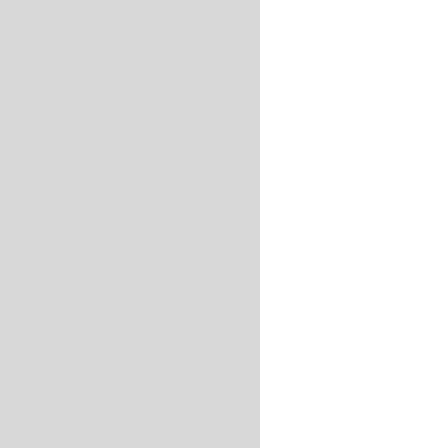more than 80 years later.
Until now.
[Figure (photo): A scientific/electronic instrument device (appears to be a spectrometer or detector) with a gray rectangular housing, a black top section, a gray tube/hose connected at the top, a blue bracket/clip on the side holding a metal probe, a small ghost logo sticker on the side, control buttons/ports on the front, a black cable running to the bottom, and a metallic foil bag visible at the bottom of the image.]